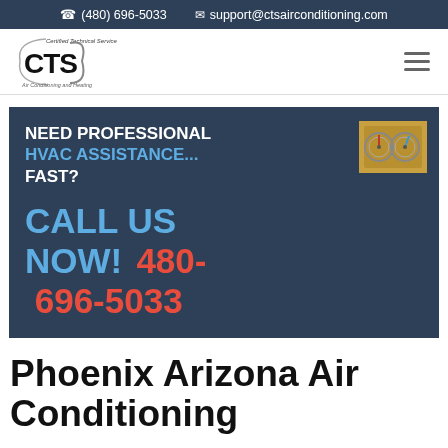(480) 696-5033  support@ctsairconditioning.com
[Figure (logo): CTS Air Conditioning and Heating logo with circular swoosh design and text 'Certified Technical Service']
[Figure (infographic): Dark blue hero banner with text: NEED PROFESSIONAL HVAC ASSISTANCE... FAST? CALL US NOW! 480-696-5033, with a small HVAC gauge image in top right]
Phoenix Arizona Air Conditioning